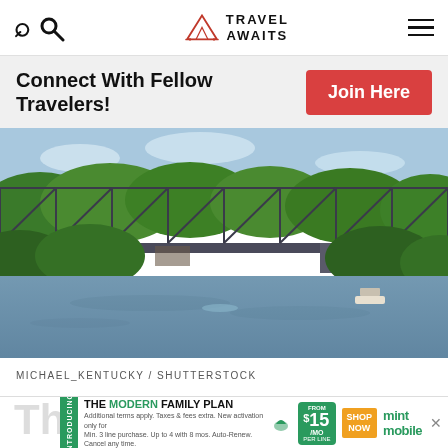Travel Awaits — navigation bar with search, logo, and menu
Connect With Fellow Travelers!
Join Here
[Figure (photo): A steel truss bridge over a calm river surrounded by dense green trees and forest, blue sky with light clouds in background, boats visible to the right.]
MICHAEL_KENTUCKY / SHUTTERSTOCK
[Figure (infographic): Mint Mobile advertisement banner: 'Introducing THE MODERN FAMILY PLAN' with price $15/mo per line and Shop Now button.]